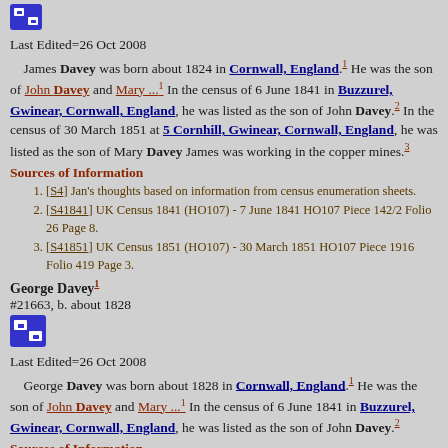[Figure (logo): Blue icon button at top]
Last Edited=26 Oct 2008
James Davey was born about 1824 in Cornwall, England.1 He was the son of John Davey and Mary ...1 In the census of 6 June 1841 in Buzzurel, Gwinear, Cornwall, England, he was listed as the son of John Davey.2 In the census of 30 March 1851 at 5 Cornhill, Gwinear, Cornwall, England, he was listed as the son of Mary Davey James was working in the copper mines.3
Sources of Information
[S4] Jan's thoughts based on information from census enumeration sheets.
[S41841] UK Census 1841 (HO107) - 7 June 1841 HO107 Piece 142/2 Folio 26 Page 8.
[S41851] UK Census 1851 (HO107) - 30 March 1851 HO107 Piece 1916 Folio 419 Page 3.
George Davey1
#21663, b. about 1828
[Figure (logo): Blue icon button]
Last Edited=26 Oct 2008
George Davey was born about 1828 in Cornwall, England.1 He was the son of John Davey and Mary ...1 In the census of 6 June 1841 in Buzzurel, Gwinear, Cornwall, England, he was listed as the son of John Davey.2
Sources of Information